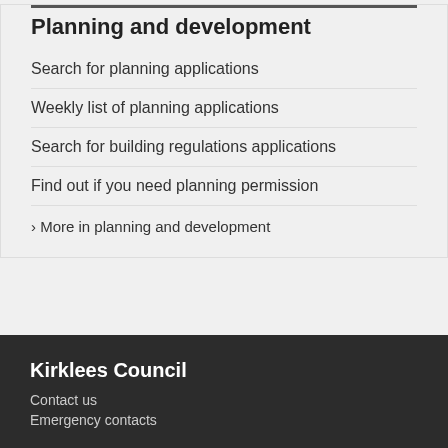Planning and development
Search for planning applications
Weekly list of planning applications
Search for building regulations applications
Find out if you need planning permission
› More in planning and development
Kirklees Council
Contact us
Emergency contacts